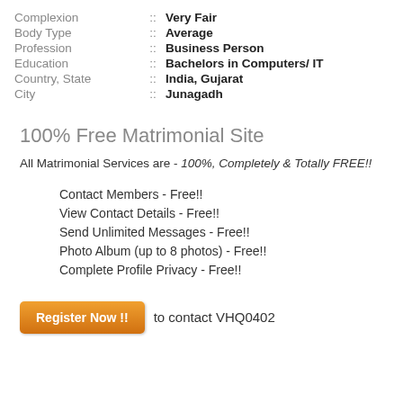Complexion : Very Fair
Body Type : Average
Profession : Business Person
Education : Bachelors in Computers/ IT
Country, State : India, Gujarat
City : Junagadh
100% Free Matrimonial Site
All Matrimonial Services are - 100%, Completely & Totally FREE!!
Contact Members - Free!!
View Contact Details - Free!!
Send Unlimited Messages - Free!!
Photo Album (up to 8 photos) - Free!!
Complete Profile Privacy - Free!!
Register Now !! to contact VHQ0402